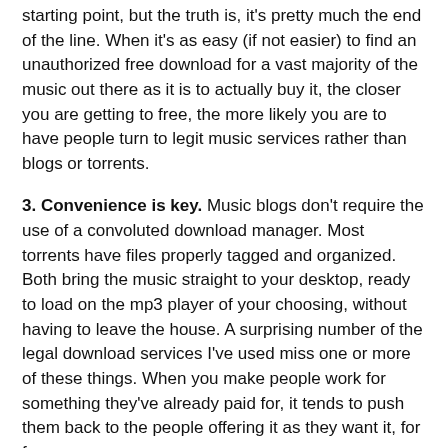starting point, but the truth is, it's pretty much the end of the line. When it's as easy (if not easier) to find an unauthorized free download for a vast majority of the music out there as it is to actually buy it, the closer you are getting to free, the more likely you are to have people turn to legit music services rather than blogs or torrents.
3. Convenience is key. Music blogs don't require the use of a convoluted download manager. Most torrents have files properly tagged and organized. Both bring the music straight to your desktop, ready to load on the mp3 player of your choosing, without having to leave the house. A surprising number of the legal download services I've used miss one or more of these things. When you make people work for something they've already paid for, it tends to push them back to the people offering it as they want it, for free.
4. If you don't have it, they can't buy it. As much as I love eMusic, I don't see anyway a new music service could survive without the full support of the four major labels and a healthy selection of the biggest indies. The iTunes and Amazons of the world have conditioned customers to expect